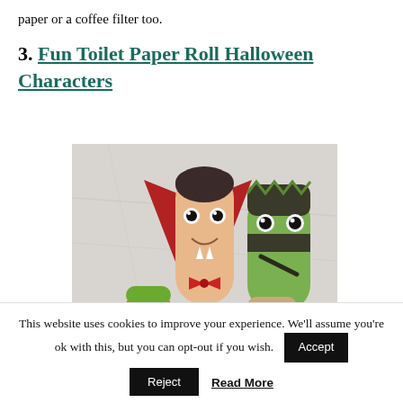paper or a coffee filter too.
3. Fun Toilet Paper Roll Halloween Characters
[Figure (photo): Halloween craft characters made from toilet paper rolls: a Dracula figure with red cape wings, googly eyes, and bow tie, and a Frankenstein figure painted green with dark hair and bolts, plus partial other characters at bottom]
This website uses cookies to improve your experience. We'll assume you're ok with this, but you can opt-out if you wish.
Accept
Reject
Read More